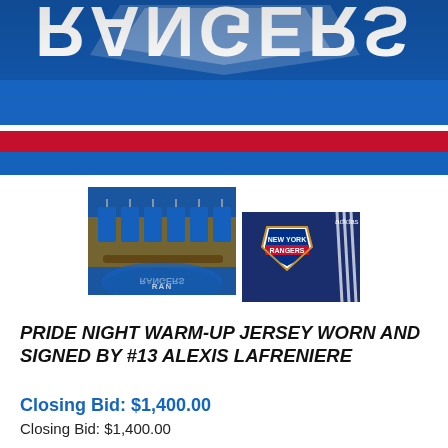[Figure (photo): New York Rangers jersey close-up showing 'RANGERS' text in white on blue background with red stripe, viewed from below/upside-down angle]
[Figure (photo): New York Rangers locker room with blue Rangers jerseys hanging, Rangers logo floor visible]
[Figure (photo): Close-up of New York Rangers jersey patch/crest with adidas logo visible]
PRIDE NIGHT WARM-UP JERSEY WORN AND SIGNED BY #13 ALEXIS LAFRENIERE
Closing Bid: $1,400.00
Closing Bid: $1,400.00